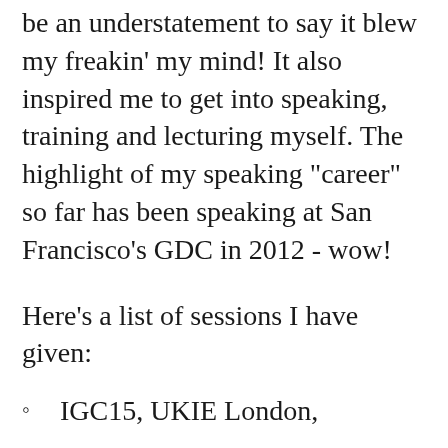be an understatement to say it blew my freakin' my mind! It also inspired me to get into speaking, training and lecturing myself. The highlight of my speaking "career" so far has been speaking at San Francisco's GDC in 2012 - wow!
Here's a list of sessions I have given:
IGC15, UKIE London,